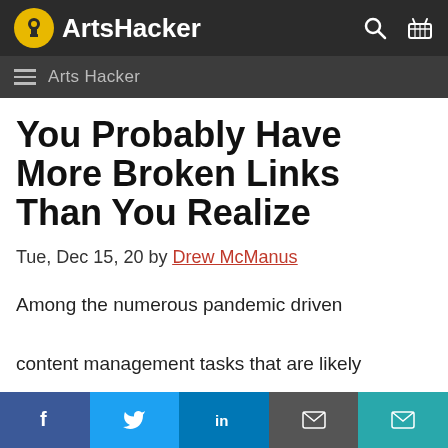ArtsHacker
Arts Hacker
You Probably Have More Broken Links Than You Realize
Tue, Dec 15, 20 by Drew McManus
Among the numerous pandemic driven content management tasks that are likely